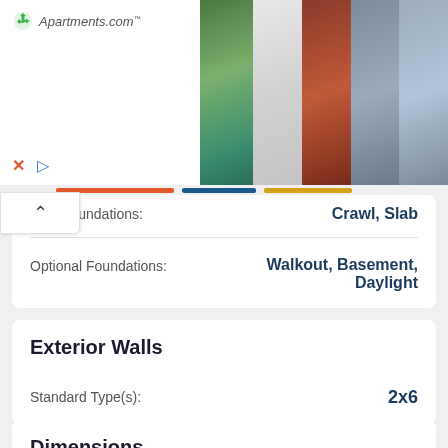[Figure (screenshot): Apartments.com advertisement banner with logo on left side and 5 property photos on the right. Below the logo are X and play button controls.]
uard Foundations:  Crawl, Slab
Optional Foundations:  Walkout, Basement, Daylight
Exterior Walls
Standard Type(s):  2x6
Dimensions